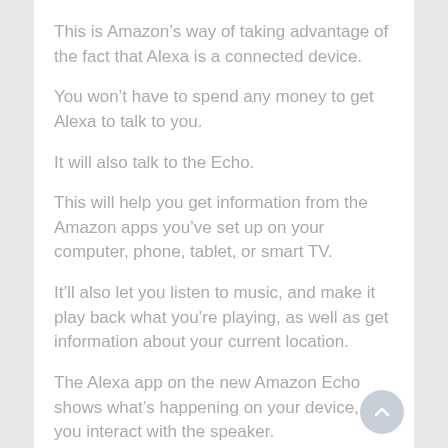This is Amazon’s way of taking advantage of the fact that Alexa is a connected device.
You won’t have to spend any money to get Alexa to talk to you.
It will also talk to the Echo.
This will help you get information from the Amazon apps you’ve set up on your computer, phone, tablet, or smart TV.
It’ll also let you listen to music, and make it play back what you’re playing, as well as get information about your current location.
The Alexa app on the new Amazon Echo shows what’s happening on your device, as you interact with the speaker.
I was surprised to see that it doesn’t seem to be connected to your computer or phone.